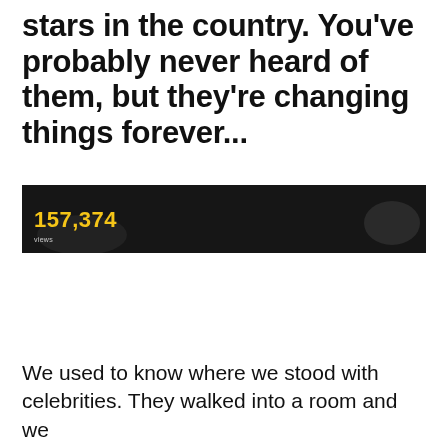stars in the country. You've probably never heard of them, but they're changing things forever...
[Figure (screenshot): Dark video thumbnail or screenshot showing a view count overlay reading '157,374' in bold yellow text on a dark background, with a blurred figure visible.]
We used to know where we stood with celebrities. They walked into a room and we